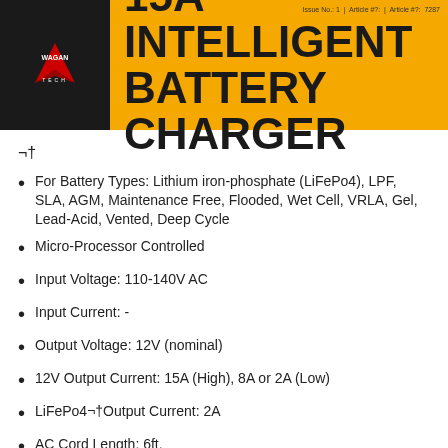15A INTELLIGENT BATTERY CHARGER
¬†
For Battery Types: Lithium iron-phosphate (LiFePo4), LPF, SLA, AGM, Maintenance Free, Flooded, Wet Cell, VRLA, Gel, Lead-Acid, Vented, Deep Cycle
Micro-Processor Controlled
Input Voltage: 110-140V AC
Input Current: -
Output Voltage: 12V (nominal)
12V Output Current: 15A (High), 8A or 2A (Low)
LiFePo4¬†Output Current: 2A
AC Cord Length: 6ft.
DC Cord Length: 3ft.